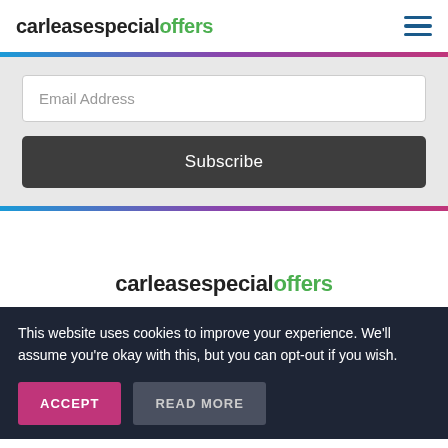carleasespecialoffers
Email Address
Subscribe
carleasespecialoffers
This website uses cookies to improve your experience. We'll assume you're okay with this, but you can opt-out if you wish.
ACCEPT
READ MORE